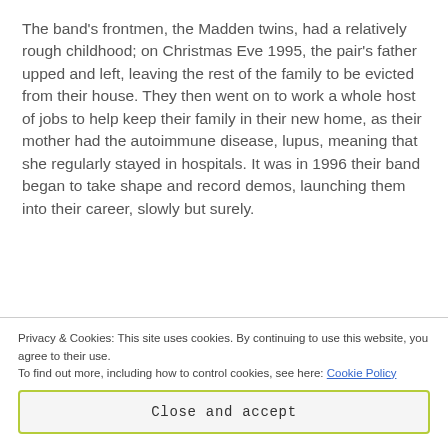The band's frontmen, the Madden twins, had a relatively rough childhood; on Christmas Eve 1995, the pair's father upped and left, leaving the rest of the family to be evicted from their house. They then went on to work a whole host of jobs to help keep their family in their new home, as their mother had the autoimmune disease, lupus, meaning that she regularly stayed in hospitals. It was in 1996 their band began to take shape and record demos, launching them into their career, slowly but surely.
Privacy & Cookies: This site uses cookies. By continuing to use this website, you agree to their use. To find out more, including how to control cookies, see here: Cookie Policy
Close and accept